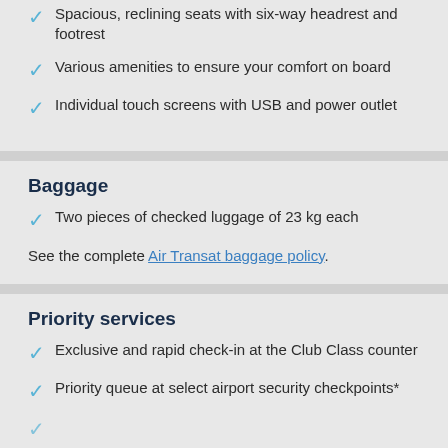Spacious, reclining seats with six-way headrest and footrest
Various amenities to ensure your comfort on board
Individual touch screens with USB and power outlet
Baggage
Two pieces of checked luggage of 23 kg each
See the complete Air Transat baggage policy.
Priority services
Exclusive and rapid check-in at the Club Class counter
Priority queue at select airport security checkpoints*